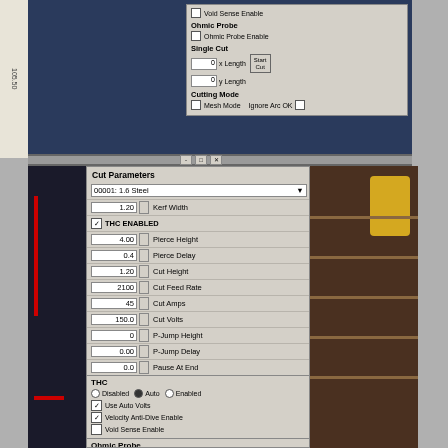[Figure (screenshot): Top portion of CNC plasma cutter software interface showing Void Sense Enable, Ohmic Probe, Single Cut (x Length: 0, y Length: 0, Start Cut button), and Cutting Mode (Mesh Mode, Ignore Arc OK) sections on a dark blue background.]
[Figure (screenshot): Main Cut Parameters dialog window showing: 00001: 1.6 Steel selected. Parameters: Kerf Width 1.20, THC ENABLED (checked), Pierce Height 4.00, Pierce Delay 0.4, Cut Height 1.20, Cut Feed Rate 2100, Cut Amps 45, Cut Volts 150.0, P-Jump Height 0, P-Jump Delay 0.00, Pause At End 0.0. THC section: Disabled / Auto (selected) / Enabled radio buttons, Use Auto Volts checked, Velocity Anti-Dive Enable checked, Void Sense Enable unchecked. Ohmic Probe section visible at bottom.]